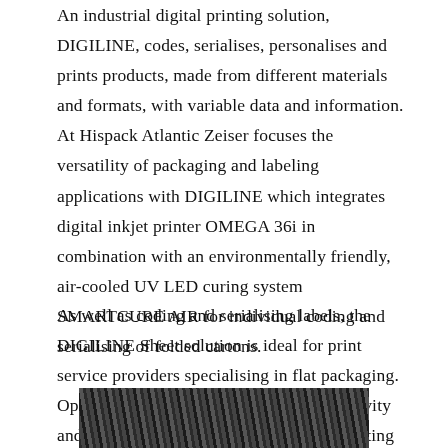An industrial digital printing solution, DIGILINE, codes, serialises, personalises and prints products, made from different materials and formats, with variable data and information. At Hispack Atlantic Zeiser focuses the versatility of packaging and labeling applications with DIGILINE which integrates digital inkjet printer OMEGA 36i in combination with an environmentally friendly, air-cooled UV LED curing system SMARTCURE AIR for individual coding and serialising of folded cartons.
As well as coding and serialising labels, the DIGILINE Sheet solution is ideal for print service providers specialising in flat packaging. Operations can also enhance their productivity and cost-efficiency considerably when printing variable data onto sheets or cartons using the DIGILINE Sheet.
[Figure (photo): Partial photo of industrial printing equipment, dark monochrome image showing mechanical components]